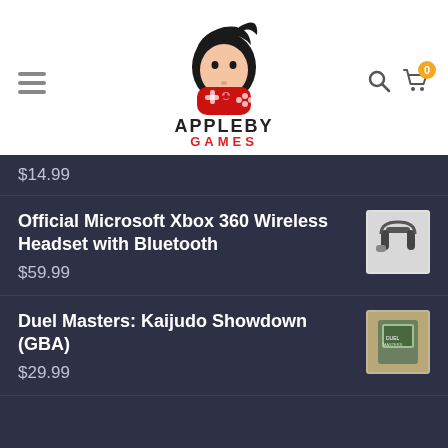[Figure (logo): Appleby Games logo — cartoon game character head above a red gamepad controller, with text APPLEBY GAMES]
$14.99
Official Microsoft Xbox 360 Wireless Headset with Bluetooth
$59.99
Duel Masters: Kaijudo Showdown (GBA)
$29.99